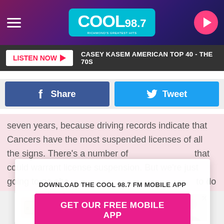[Figure (screenshot): Cool 98.7 FM radio station website header with logo, hamburger menu, and play button on dark purple background]
LISTEN NOW ▶   CASEY KASEM AMERICAN TOP 40 - THE 70S
[Figure (screenshot): Facebook Share and Twitter Tweet social sharing buttons]
seven years, because driving records indicate that Cancers have the most suspended licenses of all the signs. There's a number of different driving offenses that could warrant license suspension. But we're just going to go ahead and assume this is something to do with Cancer's trademark emotionality. Deep breaths, Cancer. Deep. Breaths.
[Figure (infographic): Modal popup: DOWNLOAD THE COOL 98.7 FM MOBILE APP with GET OUR FREE MOBILE APP button]
Also listen on:  amazon alexa
Leo (July 23 – August 22)
[Figure (screenshot): Advertisement for Lending Now - Fast And FREE Approval with Click To Call button]